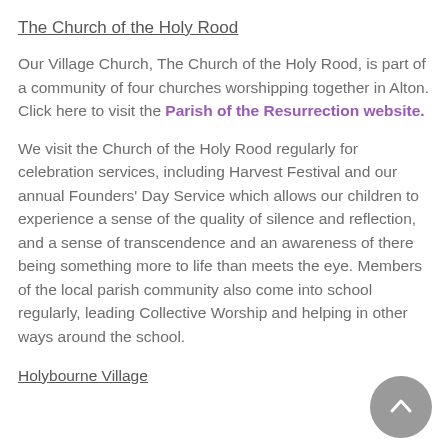The Church of the Holy Rood
Our Village Church, The Church of the Holy Rood, is part of a community of four churches worshipping together in Alton. Click here to visit the Parish of the Resurrection website.
We visit the Church of the Holy Rood regularly for celebration services, including Harvest Festival and our annual Founders’ Day Service which allows our children to experience a sense of the quality of silence and reflection, and a sense of transcendence and an awareness of there being something more to life than meets the eye. Members of the local parish community also come into school regularly, leading Collective Worship and helping in other ways around the school.
Holybourne Village